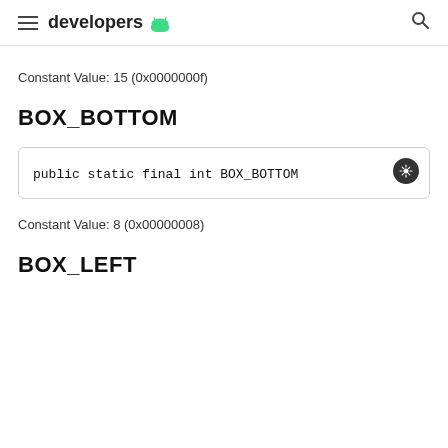developers
Constant Value: 15 (0x0000000f)
BOX_BOTTOM
public static final int BOX_BOTTOM
Constant Value: 8 (0x00000008)
BOX_LEFT